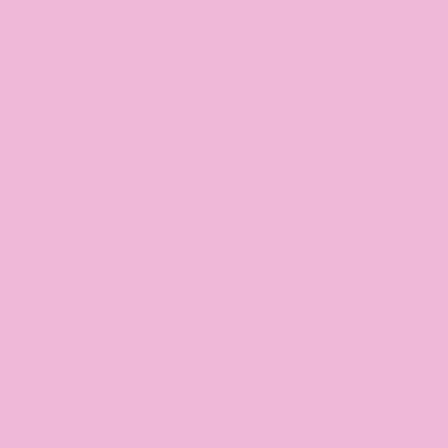Phishing on Windows mac huge issue, 🔲🔲
Normally I whouldn't get involve a suggestions on this topic.
I belive both you and Teasel have will offer some tips here.
It does sound like a phishing attac attacks are not isolated to window
This is because this type of attack through your web browser and we multiplatform..they run on every o even mobile OS.
Currently it's the browser that is th the OSI (Internet Model) because interprets the data being sent/rece packets and displays them.
So anything that appears on your manipulated, altered and changed
Do not let ___